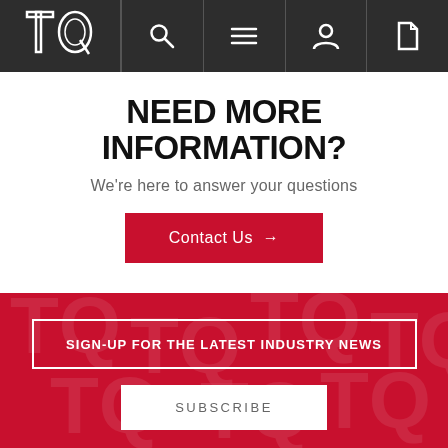TQ logo with navigation icons: search, menu, user, document
NEED MORE INFORMATION?
We're here to answer your questions
Contact Us →
SIGN-UP FOR THE LATEST INDUSTRY NEWS
SUBSCRIBE
[Figure (logo): CE mark and Intertek UKAS certification logos]